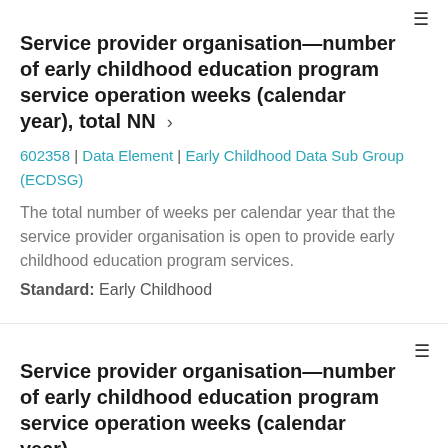Service provider organisation—number of early childhood education program service operation weeks (calendar year), total NN >
602358 | Data Element | Early Childhood Data Sub Group (ECDSG)
The total number of weeks per calendar year that the service provider organisation is open to provide early childhood education program services.
Standard: Early Childhood
Service provider organisation—number of early childhood education program service operation weeks (calendar year),